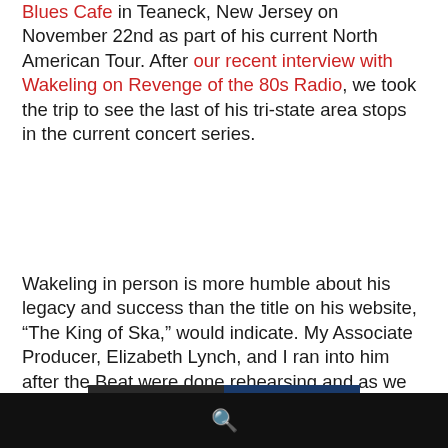Blues Cafe in Teaneck, New Jersey on November 22nd as part of his current North American Tour. After our recent interview with Wakeling on Revenge of the 80s Radio, we took the trip to see the last of his tri-state area stops in the current concert series.
Wakeling in person is more humble about his legacy and success than the title on his website, “The King of Ska,” would indicate. My Associate Producer, Elizabeth Lynch, and I ran into him after the Beat were done rehearsing and as we were going into Mexicali for an early dinner. He took some time to chat a bit before going outside to enjoy some fresh air.
[Figure (photo): Two men singing on stage with microphones, one on the left in a dark setting and one on the right against a blue background]